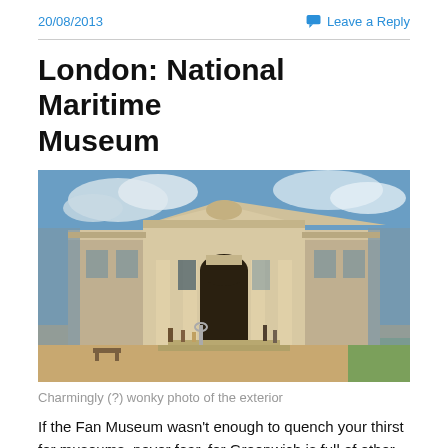20/08/2013
Leave a Reply
London: National Maritime Museum
[Figure (photo): Exterior photo of the National Maritime Museum in Greenwich, London. A grand neoclassical building with columns, a central arch entrance, and a decorative pediment with sculptures. Blue sky with white clouds above. People and a bench visible in the foreground on a paved area.]
Charmingly (?) wonky photo of the exterior
If the Fan Museum wasn't enough to quench your thirst for museums, never fear, for Greenwich is full of other